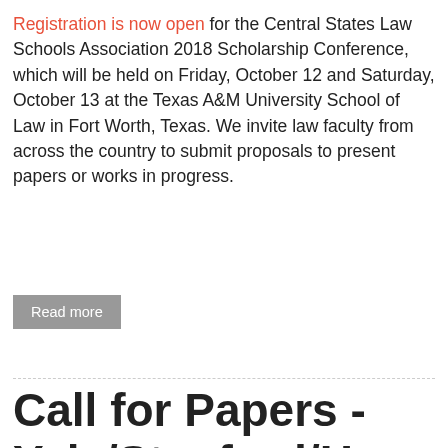Registration is now open for the Central States Law Schools Association 2018 Scholarship Conference, which will be held on Friday, October 12 and Saturday, October 13 at the Texas A&M University School of Law in Fort Worth, Texas. We invite law faculty from across the country to submit proposals to present papers or works in progress.
Read more
Call for Papers - Yale/Stanford/Harvard Junior Faculty Forum -